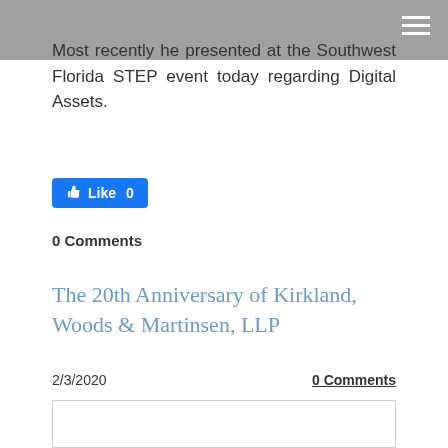Most recently he presented at the Southwest Florida STEP event today regarding Digital Assets.
[Figure (other): Facebook Like button showing 'Like 0']
0 Comments
The 20th Anniversary of Kirkland, Woods & Martinsen, LLP
2/3/2020
0 Comments
[Figure (logo): Circular celebration badge logo with text 'CELEBR...' visible at bottom, blue and grey colors]